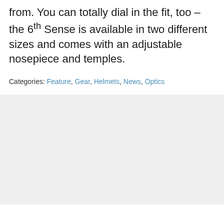from. You can totally dial in the fit, too – the 6th Sense is available in two different sizes and comes with an adjustable nosepiece and temples.
Categories: Feature, Gear, Helmets, News, Optics